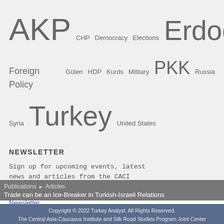[Figure (infographic): Tag cloud with Turkey-related political keywords in varying font sizes: AKP (large), CHP (small), Democracy (small), Elections (small), Erdogan (xlarge), Foreign Policy (medium), Gülen (small), HDP (small), Kurds (small), Military (small), PKK (large), Russia (small), Syria (small), Turkey (xxlarge), United States (small)]
NEWSLETTER
Sign up for upcoming events, latest news and articles from the CACI Analyst
Newsletter
Publications ▶ Articles
Trade can be an Ice-Breaker in Turkish-Israeli Relations
Copyright © 2022 Turkey Analyst. All Rights Reserved.
The Central Asia-Caucasus Institute and Silk Road Studies Program Joint Center